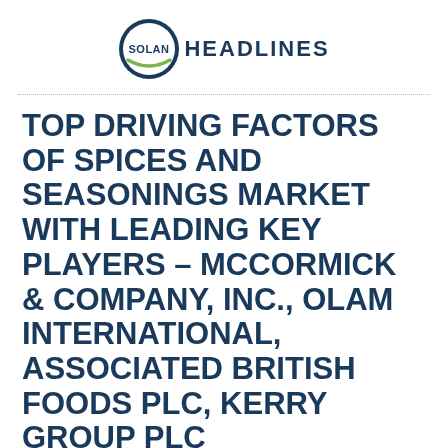SOLAN HEADLINES
TOP DRIVING FACTORS OF SPICES AND SEASONINGS MARKET WITH LEADING KEY PLAYERS – MCCORMICK & COMPANY, INC., OLAM INTERNATIONAL, ASSOCIATED BRITISH FOODS PLC, KERRY GROUP PLC
Top Driving Factors of Spices and Seasonings Market with leading Key